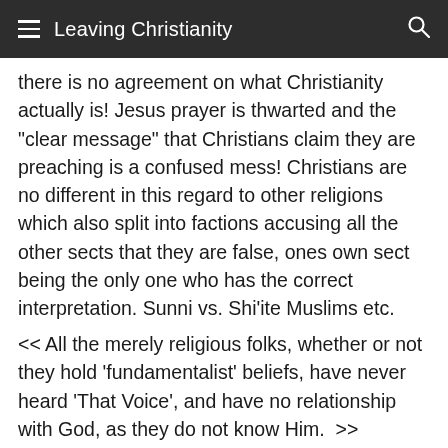Leaving Christianity
there is no agreement on what Christianity actually is! Jesus prayer is thwarted and the "clear message" that Christians claim they are preaching is a confused mess! Christians are no different in this regard to other religions which also split into factions accusing all the other sects that they are false, ones own sect being the only one who has the correct interpretation. Sunni vs. Shi'ite Muslims etc.
<< All the merely religious folks, whether or not they hold 'fundamentalist' beliefs, have never heard 'That Voice', and have no relationship with God, as they do not know Him.  >>